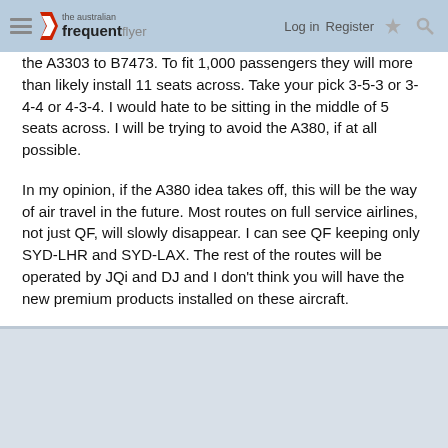The Australian Frequent Flyer — Log in | Register
the A3303 to B7473. To fit 1,000 passengers they will more than likely install 11 seats across. Take your pick 3-5-3 or 3-4-4 or 4-3-4. I would hate to be sitting in the middle of 5 seats across. I will be trying to avoid the A380, if at all possible.
In my opinion, if the A380 idea takes off, this will be the way of air travel in the future. Most routes on full service airlines, not just QF, will slowly disappear. I can see QF keeping only SYD-LHR and SYD-LAX. The rest of the routes will be operated by JQi and DJ and I don't think you will have the new premium products installed on these aircraft.
Anyway, no point worrying about something until it happens....